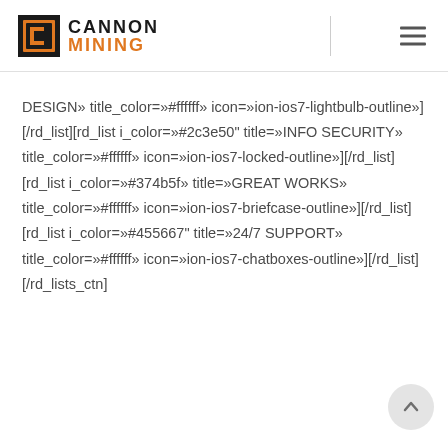CANNON MINING
DESIGN» title_color=»#ffffff» icon=»ion-ios7-lightbulb-outline»][/rd_list][rd_list i_color=»#2c3e50" title=»INFO SECURITY» title_color=»#ffffff» icon=»ion-ios7-locked-outline»][/rd_list][rd_list i_color=»#374b5f» title=»GREAT WORKS» title_color=»#ffffff» icon=»ion-ios7-briefcase-outline»][/rd_list][rd_list i_color=»#455667" title=»24/7 SUPPORT» title_color=»#ffffff» icon=»ion-ios7-chatboxes-outline»][/rd_list][/rd_lists_ctn]